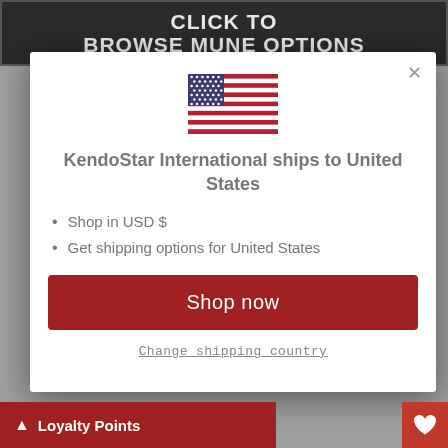CLICK TO BROWSE MUNE OPTIONS
[Figure (illustration): US flag SVG illustration]
KendoStar International ships to United States
Shop in USD $
Get shipping options for United States
Shop now
Change shipping country
Loyalty Points